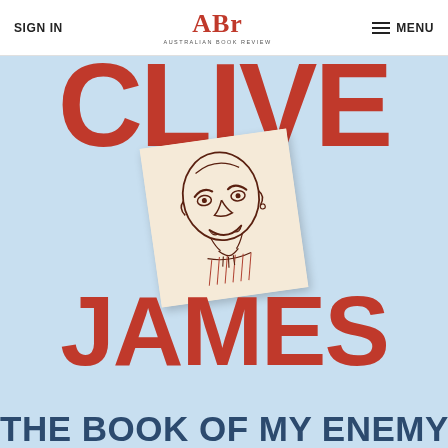SIGN IN | ABR Australian Book Review | MENU
[Figure (illustration): Book cover of 'The Book of My Enemy' by Clive James. Light blue background with large red bold text 'CLIVE' at top, 'JAMES' in the middle, and 'THE BOOK OF MY ENEMY' in dark blue at bottom. A caricature sketch of a bald man's face on a cream paper is overlaid in the center.]